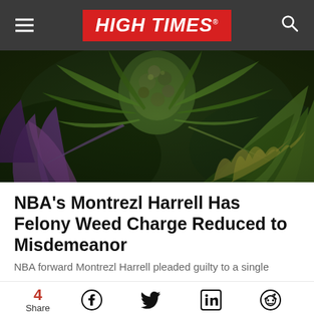HIGH TIMES
[Figure (photo): Close-up photograph of a cannabis plant with purple and green leaves and a dense bud at the center]
NBA's Montrezl Harrell Has Felony Weed Charge Reduced to Misdemeanor
NBA forward Montrezl Harrell pleaded guilty to a single
4 Share